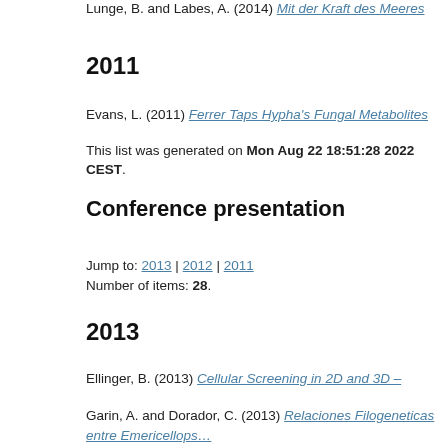Lunge, B. and Labes, A. (2014) Mit der Kraft des Meeres gegen Krebs. — Mo…
2011
Evans, L. (2011) Ferrer Taps Hypha's Fungal Metabolites Library for Antimicro…
This list was generated on Mon Aug 22 18:51:28 2022 CEST.
Conference presentation
Jump to: 2013 | 2012 | 2011
Number of items: 28.
2013
Ellinger, B. (2013) Cellular Screening in 2D and 3D – Identification of cancer s…
Garin, A. and Dorador, C. (2013) Relaciones Filogeneticas entre Emericellops… emericellopsis and acremonium, marine fungi associated to macroalgae. [Talk…
Garin, A., Villalobos, A., Aquilar, P. and Dorador, C. (2013) Hongos Marinos As… bioactivity. [Talk] In: Congreso de Ciencias del Mar. , 27.-30.05.2013, Antofaga…
Gribbon, P. (2013) Academic drug discovery in Europe. [Talk] In: GEOMAR Su…
Gribbon, P. (2013) Can academic drug discovery replenish the pre-clinical Pip…